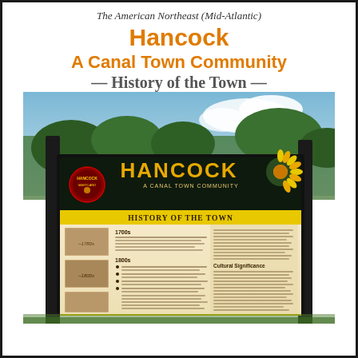The American Northeast (Mid-Atlantic)
Hancock
A Canal Town Community
— History of the Town —
[Figure (photo): Photograph of a large outdoor interpretive sign for Hancock, A Canal Town Community, showing 'History of the Town' panel with historical photos and text, mounted on black posts with trees and sky in background.]